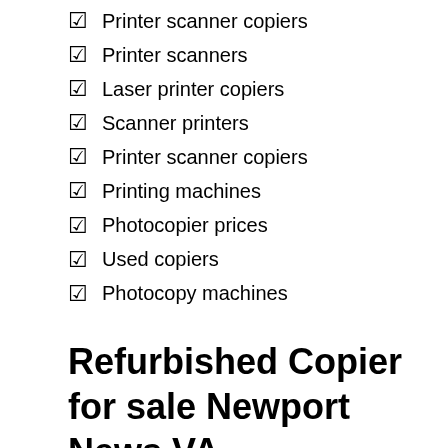Printer scanner copiers
Printer scanners
Laser printer copiers
Scanner printers
Printer scanner copiers
Printing machines
Photocopier prices
Used copiers
Photocopy machines
Refurbished Copier for sale Newport News VA
Used office copiers can save your business from making a large upfront capital expenditure. There are a few things you need to consider. You'll want a service level agreement to ensure that the refurbished copier you buy is as good as new. Our office copier dealers offer used office copier solutions that include refurbished copiers for sale in